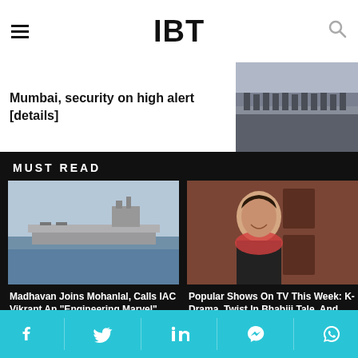IBT
Mumbai, security on high alert [details]
[Figure (photo): Military personnel walking in formation]
MUST READ
[Figure (photo): IAC Vikrant aircraft carrier at sea]
Madhavan Joins Mohanlal, Calls IAC Vikrant An "Engineering Marvel" After
[Figure (photo): Smiling woman in red floral scarf standing at a door]
Popular Shows On TV This Week: K-Drama, Twist In Bhabiji Tale, And Many More
[Figure (photo): Oh Prema song promotional image]
[Figure (photo): Collage of people in Indian attire]
Facebook Twitter LinkedIn Messenger WhatsApp